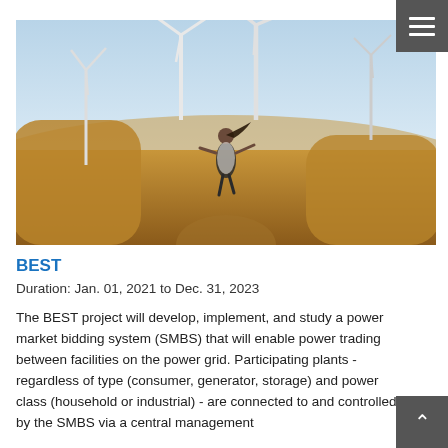[Figure (photo): A girl running through a wheat field with wind turbines in the background under a clear sky]
BEST
Duration: Jan. 01, 2021 to Dec. 31, 2023
The BEST project will develop, implement, and study a power market bidding system (SMBS) that will enable power trading between facilities on the power grid. Participating plants - regardless of type (consumer, generator, storage) and power class (household or industrial) - are connected to and controlled by the SMBS via a central management